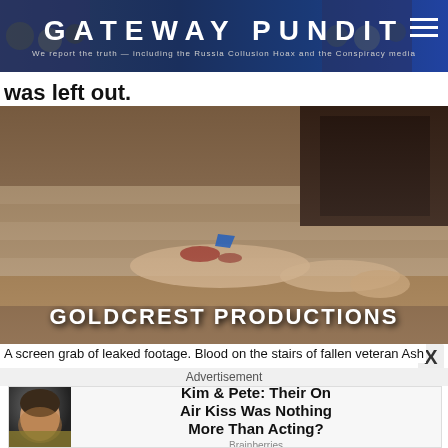GATEWAY PUNDIT — We report the truth — including the Russia Collusion Hoax and the Conspiracy media
was left out.
[Figure (screenshot): Screen grab of leaked footage showing blood on stairs, with 'GOLDCREST PRODUCTIONS' watermark overlay]
A screen grab of leaked footage. Blood on the stairs of fallen veteran Ash
Advertisement
[Figure (photo): Advertisement showing a woman (Kim Kardashian) with headline: Kim & Pete: Their On Air Kiss Was Nothing More Than Acting? — Brainberries]